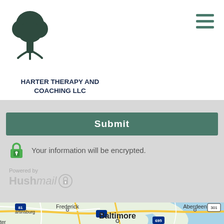[Figure (logo): Tree logo icon for Harter Therapy and Coaching LLC]
HARTER THERAPY AND COACHING LLC
[Figure (other): Hamburger menu icon (three horizontal green lines)]
[Figure (other): Green Submit button]
Your information will be encrypted.
Powered by Hushmail
[Figure (map): Google Maps view showing Baltimore, Frederick, Aberdeen, Martinsburg area with roads and waterways]